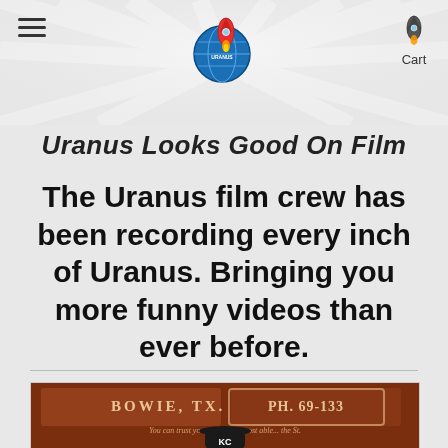Uranus Looks Good On Film — site header with logo and navigation
Uranus Looks Good On Film
The Uranus film crew has been recording every inch of Uranus. Bringing you more funny videos than ever before.
[Figure (photo): Photo of a person standing in front of a rustic old sign reading 'Bowie, TX. Ph. 69-133' with text below. The sign is weathered red/brown metal.]